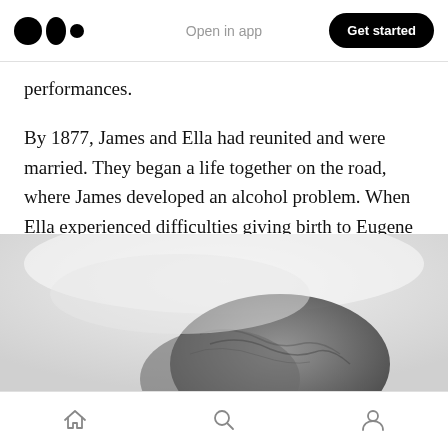Open in app | Get started
performances.
By 1877, James and Ella had reunited and were married. They began a life together on the road, where James developed an alcohol problem. When Ella experienced difficulties giving birth to Eugene O'Neill, she became addicted to morphine.
[Figure (photo): Black and white photograph, partially visible, showing what appears to be a person's head/hair against a light background.]
Home | Search | Profile